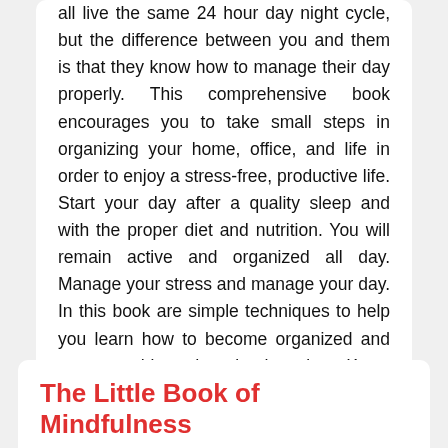all live the same 24 hour day night cycle, but the difference between you and them is that they know how to manage their day properly. This comprehensive book encourages you to take small steps in organizing your home, office, and life in order to enjoy a stress-free, productive life. Start your day after a quality sleep and with the proper diet and nutrition. You will remain active and organized all day. Manage your stress and manage your day. In this book are simple techniques to help you learn how to become organized and get more things done in short time. Know about these productive methods and apply them in your life successfully. These are useful tips for you to utilize every minute of your life, so don't waste time. Start reading the book and organize your life.
The Little Book of Mindfulness